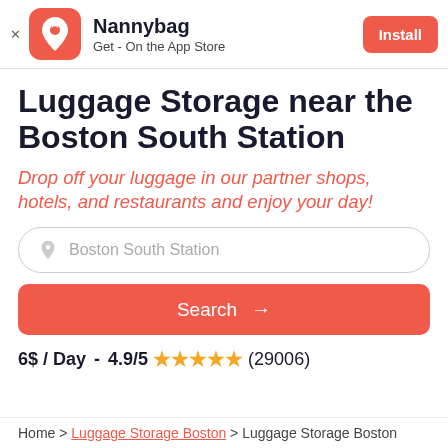Nannybag — Get - On the App Store — Install
Luggage Storage near the Boston South Station
Drop off your luggage in our partner shops, hotels, and restaurants and enjoy your day!
Boston South Station
Search →
6$ / Day  -  4.9/5 ★★★★★ (29006)
Home > Luggage Storage Boston > Luggage Storage Boston